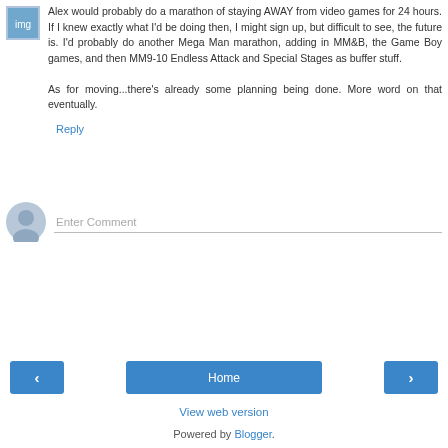Alex would probably do a marathon of staying AWAY from video games for 24 hours. If I knew exactly what I'd be doing then, I might sign up, but difficult to see, the future is. I'd probably do another Mega Man marathon, adding in MM&B, the Game Boy games, and then MM9-10 Endless Attack and Special Stages as buffer stuff.
As for moving...there's already some planning being done. More word on that eventually.
Reply
Enter Comment
Home
View web version
Powered by Blogger.